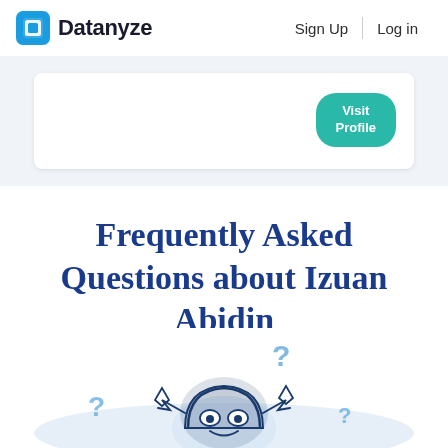Datanyze   Sign Up   Log in
[Figure (screenshot): Partial profile card with a teal 'Visit Profile' button visible]
Frequently Asked Questions about Izuan Abidin
[Figure (illustration): A cartoon robot character with question marks around it, partially visible at the bottom of the page]